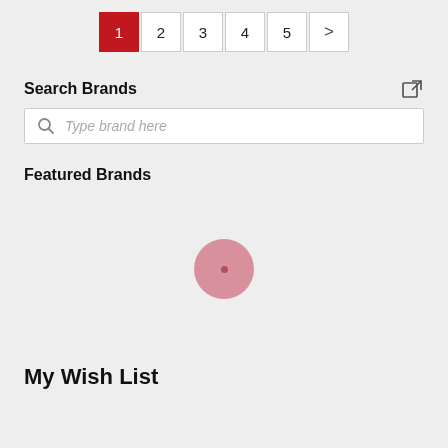[Figure (screenshot): Pagination control showing pages 1 (active, red background), 2, 3, 4, 5, and a next arrow button]
Search Brands
[Figure (screenshot): Search input box with magnifying glass icon and placeholder text 'Type brand here', with external link icon top-right]
Featured Brands
[Figure (other): Loading spinner: pink circle with a small darker dot in the center]
My Wish List